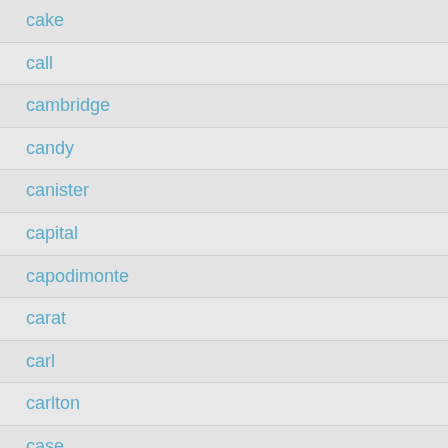cake
call
cambridge
candy
canister
capital
capodimonte
carat
carl
carlton
case
cased
cast